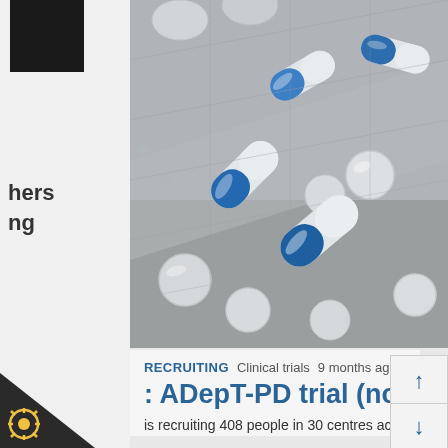[Figure (photo): Close-up photograph of blue and white capsule pills arranged in blister packs on a metallic silver background]
RECRUITING  Clinical trials  9 months ago
ADepT-PD trial (nortriptyline...
is recruiting 408 people in 30 centres across